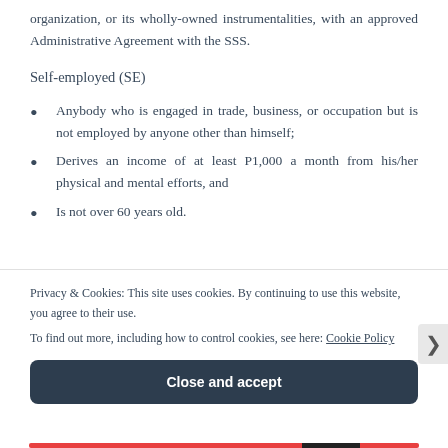organization, or its wholly-owned instrumentalities, with an approved Administrative Agreement with the SSS.
Self-employed (SE)
Anybody who is engaged in trade, business, or occupation but is not employed by anyone other than himself;
Derives an income of at least P1,000 a month from his/her physical and mental efforts, and
Is not over 60 years old.
Privacy & Cookies: This site uses cookies. By continuing to use this website, you agree to their use.
To find out more, including how to control cookies, see here: Cookie Policy
Close and accept